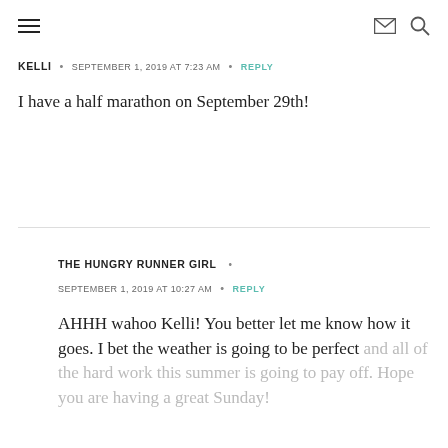Navigation header with hamburger menu, envelope icon, and search icon
KELLI • SEPTEMBER 1, 2019 AT 7:23 AM • REPLY
I have a half marathon on September 29th!
THE HUNGRY RUNNER GIRL • SEPTEMBER 1, 2019 AT 10:27 AM • REPLY
AHHH wahoo Kelli! You better let me know how it goes. I bet the weather is going to be perfect and all of the hard work this summer is going to pay off. Hope you are having a great Sunday!